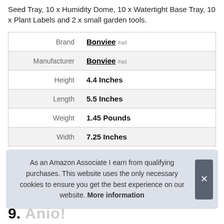Seed Tray, 10 x Humidity Dome, 10 x Watertight Base Tray, 10 x Plant Labels and 2 x small garden tools.
| Attribute | Value |
| --- | --- |
| Brand | Bonviee #ad |
| Manufacturer | Bonviee #ad |
| Height | 4.4 Inches |
| Length | 5.5 Inches |
| Weight | 1.45 Pounds |
| Width | 7.25 Inches |
More information
As an Amazon Associate I earn from qualifying purchases. This website uses the only necessary cookies to ensure you get the best experience on our website. More information
9.